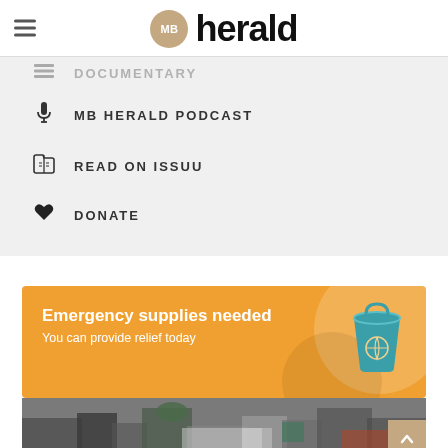MB herald
MB HERALD PODCAST
READ ON ISSUU
DONATE
[Figure (infographic): Orange banner ad reading 'Emergency supplies needed – You can provide relief today' with a teal bucket icon on right]
[Figure (photo): Street scene with crowd of people in winter clothing]